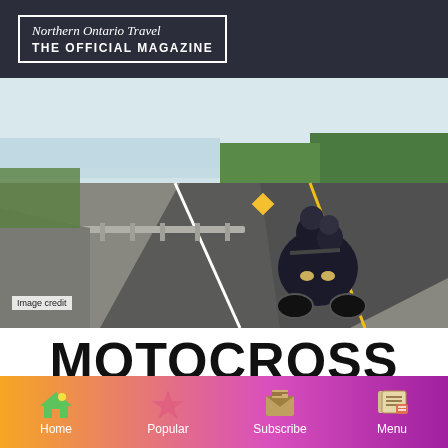Northern Ontario Travel THE OFFICIAL MAGAZINE
[Figure (photo): Motorcyclists riding on a curving road with guardrails and lake/landscape in background, viewed from behind]
Image credit
MOTOCROSS LEGEND RON KEYS
[Figure (infographic): Bottom navigation bar with Home, Popular, Subscribe, Menu icons on orange-to-purple gradient background]